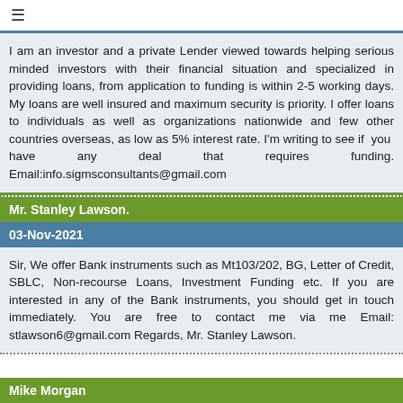≡
I am an investor and a private Lender viewed towards helping serious minded investors with their financial situation and specialized in providing loans, from application to funding is within 2-5 working days. My loans are well insured and maximum security is priority. I offer loans to individuals as well as organizations nationwide and few other countries overseas, as low as 5% interest rate. I'm writing to see if you have any deal that requires funding. Email:info.sigmsconsultants@gmail.com
Mr. Stanley Lawson.
03-Nov-2021
Sir, We offer Bank instruments such as Mt103/202, BG, Letter of Credit, SBLC, Non-recourse Loans, Investment Funding etc. If you are interested in any of the Bank instruments, you should get in touch immediately. You are free to contact me via me Email: stlawson6@gmail.com Regards, Mr. Stanley Lawson.
Mike Morgan